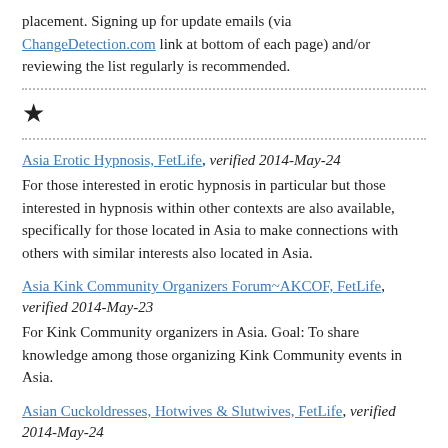placement. Signing up for update emails (via ChangeDetection.com link at bottom of each page) and/or reviewing the list regularly is recommended.
★
Asia Erotic Hypnosis, FetLife, verified 2014-May-24
For those interested in erotic hypnosis in particular but those interested in hypnosis within other contexts are also available, specifically for those located in Asia to make connections with others with similar interests also located in Asia.
Asia Kink Community Organizers Forum~AKCOF, FetLife, verified 2014-May-23
For Kink Community organizers in Asia. Goal: To share knowledge among those organizing Kink Community events in Asia.
Asian Cuckoldresses, Hotwives & Slutwives, FetLife, verified 2014-May-24